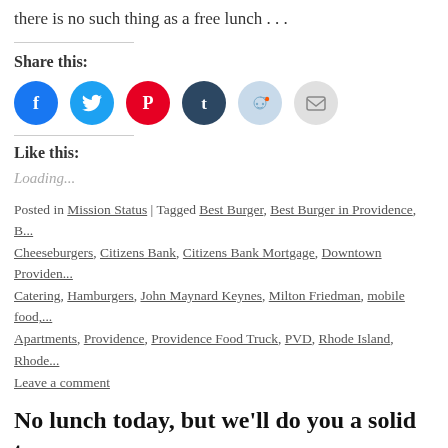there is no such thing as a free lunch . . .
Share this:
[Figure (infographic): Six social sharing icon buttons: Facebook (blue circle), Twitter (cyan circle), Pinterest (red circle), Tumblr (dark navy circle), Reddit (light blue circle), Email (gray circle)]
Like this:
Loading...
Posted in Mission Status | Tagged Best Burger, Best Burger in Providence, B... Cheeseburgers, Citizens Bank, Citizens Bank Mortgage, Downtown Providen... Catering, Hamburgers, John Maynard Keynes, Milton Friedman, mobile food,... Apartments, Providence, Providence Food Truck, PVD, Rhode Island, Rhode...
Leave a comment
No lunch today, but we'll do you a solid to... Promenade Apartments. 6:00 to 7:30.